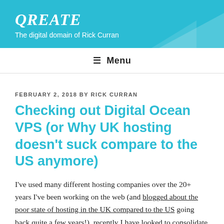QREATE
The digital domain of Rick Curran
≡ Menu
FEBRUARY 2, 2018 BY RICK CURRAN
Checking out Digital Ocean VPS (or Why UK hosting doesn't suck compare to the US anymore)
I've used many different hosting companies over the 20+ years I've been working on the web (and blogged about the poor state of hosting in the UK compared to the US going back quite a few years!), recently I have looked to consolidate